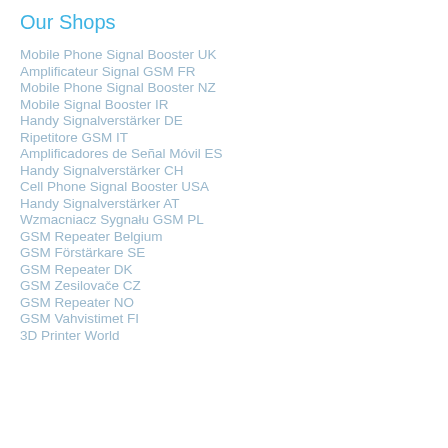Our Shops
Mobile Phone Signal Booster UK
Amplificateur Signal GSM FR
Mobile Phone Signal Booster NZ
Mobile Signal Booster IR
Handy Signalverstärker DE
Ripetitore GSM IT
Amplificadores de Señal Móvil ES
Handy Signalverstärker CH
Cell Phone Signal Booster USA
Handy Signalverstärker AT
Wzmacniacz Sygnału GSM PL
GSM Repeater Belgium
GSM Förstärkare SE
GSM Repeater DK
GSM Zesilovače CZ
GSM Repeater NO
GSM Vahvistimet FI
3D Printer World